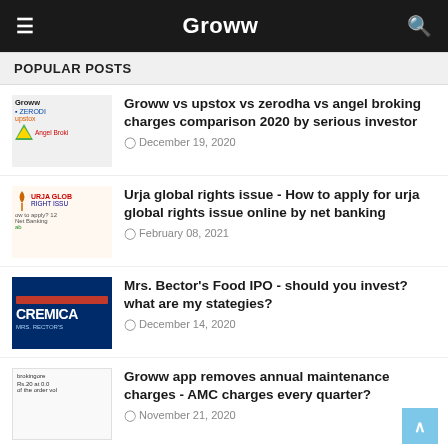Groww
POPULAR POSTS
Groww vs upstox vs zerodha vs angel broking charges comparison 2020 by serious investor
December 19, 2020
Urja global rights issue - How to apply for urja global rights issue online by net banking
February 08, 2021
Mrs. Bector's Food IPO - should you invest? what are my stategies?
December 14, 2020
Groww app removes annual maintenance charges - AMC charges every quarter?
November 21, 2020
Groww vs upstox vs zerodha charges